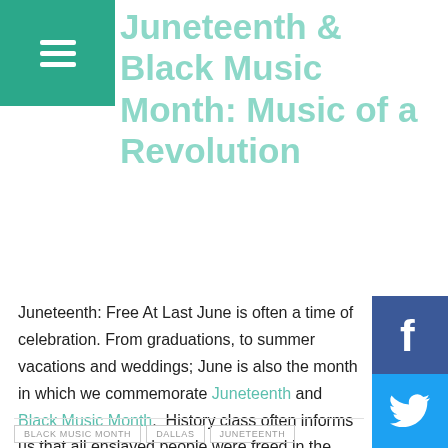Juneteenth & Black Music Month: Music of a Revolution
Juneteenth: Free At Last June is often a time of celebration. From graduations, to summer vacations and weddings; June is also the month in which we commemorate Juneteenth and Black Music Month.  History class often informs us that all enslaved people were freed in the U.S on January 1, 1863, as a result of the Emancipation Proclamation; however, many… Read the rest
BLACK MUSIC MONTH   DALLAS   JUNETEENTH